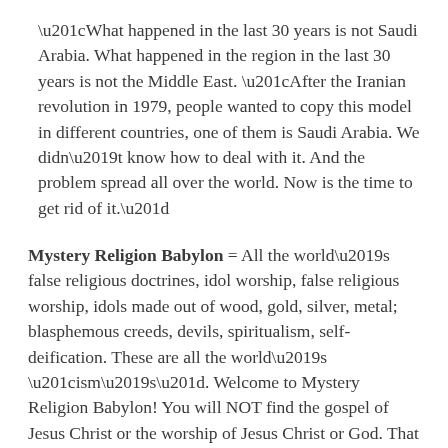“What happened in the last 30 years is not Saudi Arabia. What happened in the region in the last 30 years is not the Middle East. “After the Iranian revolution in 1979, people wanted to copy this model in different countries, one of them is Saudi Arabia. We didn’t know how to deal with it. And the problem spread all over the world. Now is the time to get rid of it.”
Mystery Religion Babylon = All the world’s false religious doctrines, idol worship, false religious worship, idols made out of wood, gold, silver, metal; blasphemous creeds, devils, spiritualism, self-deification. These are all the world’s “ism’s”. Welcome to Mystery Religion Babylon! You will NOT find the gospel of Jesus Christ or the worship of Jesus Christ or God. That which is created is worshiped, not the creator. Human sin and the forgiveness of sin